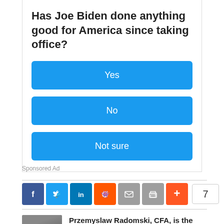Has Joe Biden done anything good for America since taking office?
Yes
No
Not sure
Sponsored Ad
[Figure (infographic): Social sharing icons: Facebook, Twitter, LinkedIn, Reddit, Email, Print, Plus, with share count of 7]
Przemyslaw Radomski, CFA, is the founder and creator of Sunshine...